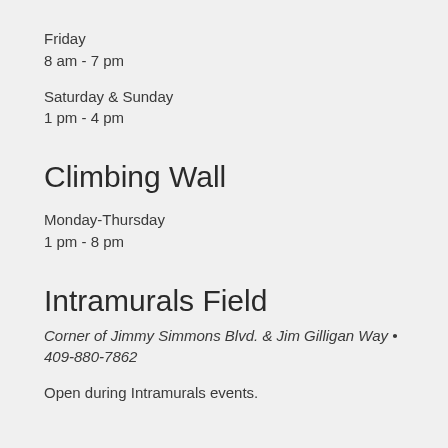Friday
8 am - 7 pm
Saturday & Sunday
1 pm - 4 pm
Climbing Wall
Monday-Thursday
1 pm - 8 pm
Intramurals Field
Corner of Jimmy Simmons Blvd. & Jim Gilligan Way • 409-880-7862
Open during Intramurals events.